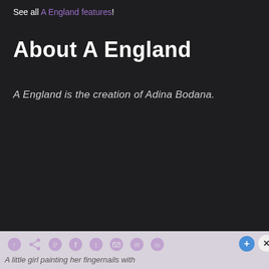See all A England features!
About A England
A England is the creation of Adina Bodana.
A little girl painting her fingernails with
[Figure (other): Social sharing icons bar with Reddit, share, Pinterest, Facebook, Twitter, email, WhatsApp, messenger, plus, and close buttons on a light grey background.]